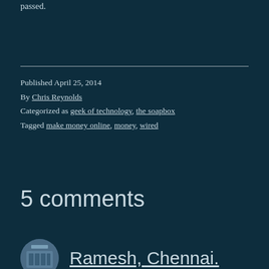passed.
Published April 25, 2014
By Chris Reynolds
Categorized as geek of technology, the soapbox
Tagged make money online, money, wired
5 comments
Ramesh, Chennai.